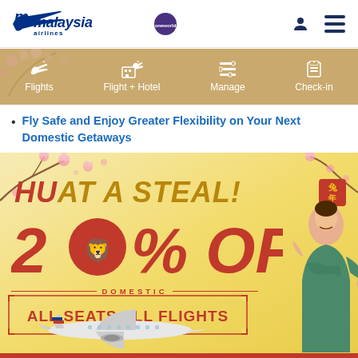[Figure (logo): Malaysia Airlines logo with blue plane icon and text, plus oneworld alliance badge]
[Figure (infographic): Navigation bar with gold/tan background showing four navigation items: Flights, Flight + Hotel, Manage, Check-in with respective icons]
Fly Safe and Enjoy Greater Flexibility on Your Next Domestic Getaways
[Figure (infographic): Malaysia Airlines promotional banner with golden background, cherry blossoms. Text: HU AT A STEAL! 20% OFF DOMESTIC ALL SEATS ALL FLIGHTS. Features cabin crew and airplane imagery.]